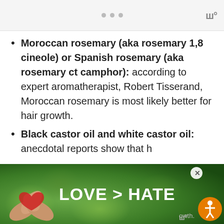navigation dots and logo
Moroccan rosemary (aka rosemary 1,8 cineole) or Spanish rosemary (aka rosemary ct camphor): according to expert aromatherapist, Robert Tisserand, Moroccan rosemary is most likely better for hair growth.
Black castor oil and white castor oil: anecdotal reports show that h... owth.
[Figure (photo): Advertisement banner at bottom showing hands making a heart shape with text LOVE > HATE on a green bokeh background, with a close button and accessibility icon]